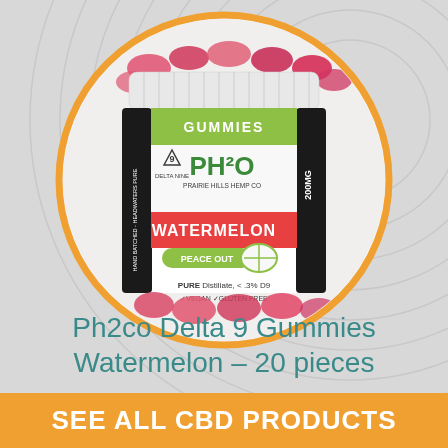[Figure (photo): A round jar of Ph2co (Prairie Hills Hemp Co) Delta 9 Watermelon Gummies. The jar has a white ribbed lid, a green and white label reading 'GUMMIES PH2O PRAIRIE HILLS HEMP CO', Delta Nine logo, 'WATERMELON PEACE OUT' in red/green text, 200MG, 20 pieces, 10mg per serving, PURE Distillate <.3% D9, VEGAN, GLUTEN FREE. The jar is surrounded by an orange circle outline and set on a light gray background with subtle swirl lines.]
Ph2co Delta 9 Gummies Watermelon – 20 pieces
SEE ALL CBD PRODUCTS